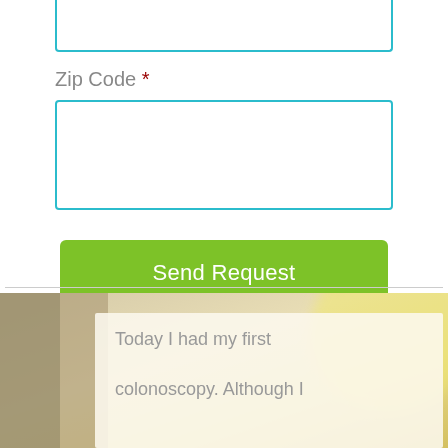Zip Code *
[Figure (screenshot): Web form with a text input field at the top (empty, teal border), a Zip Code label with red asterisk, a large empty text input field with teal border, and a green 'Send Request' button]
[Figure (photo): Blurred warm beige/gold background photo with a semi-transparent card overlay containing the beginning of a testimonial text: 'Today I had my first colonoscopy. Although I']